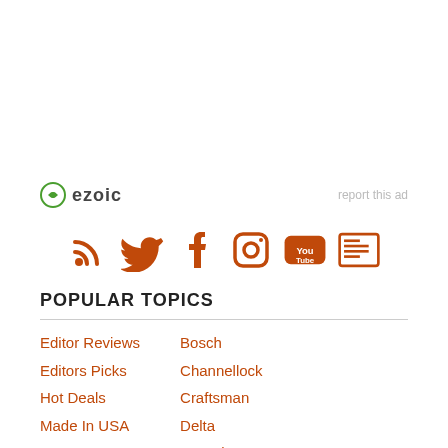[Figure (logo): Ezoic logo with green circle icon and bold 'ezoic' text, with 'report this ad' text on the right]
[Figure (infographic): Row of orange social media icons: RSS feed, Twitter bird, Facebook f, Instagram camera, YouTube, and newsletter/news icon]
POPULAR TOPICS
Editor Reviews
Bosch
Editors Picks
Channellock
Hot Deals
Craftsman
Made In USA
Delta
DeWalt